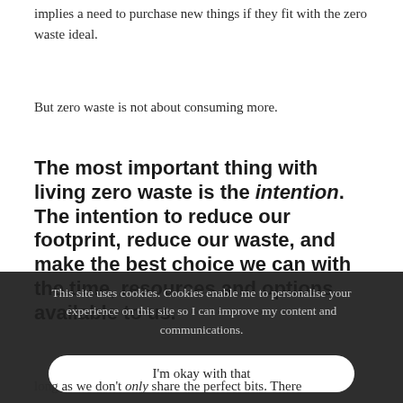implies a need to purchase new things if they fit with the zero waste ideal.
But zero waste is not about consuming more.
The most important thing with living zero waste is the intention. The intention to reduce our footprint, reduce our waste, and make the best choice we can with the time, resources and options available to us.
This site uses cookies. Cookies enable me to personalise your experience on this site so I can improve my content and communications.
I'm okay with that
Importantly, we also need the images we have. Good images draw attention, raise awareness, and educate. I don't think there's anything wrong with sharing the best, so long as we don't only share the perfect bits. There